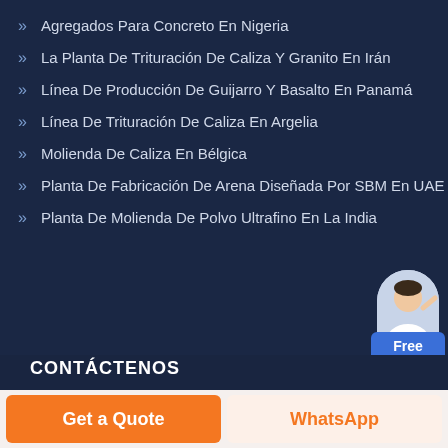Agregados Para Concreto En Nigeria
La Planta De Trituración De Caliza Y Granito En Irán
Línea De Producción De Guijarro Y Basalto En Panamá
Línea De Trituración De Caliza En Argelia
Molienda De Caliza En Bélgica
Planta De Fabricación De Arena Diseñada Por SBM En UAE
Planta De Molienda De Polvo Ultrafino En La India
CONTÁCTENOS
Name:
Get a Quote
WhatsApp